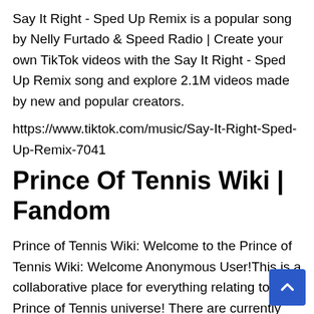Say It Right - Sped Up Remix is a popular song by Nelly Furtado & Speed Radio | Create your own TikTok videos with the Say It Right - Sped Up Remix song and explore 2.1M videos made by new and popular creators.
https://www.tiktok.com/music/Say-It-Right-Sped-Up-Remix-7041
Prince Of Tennis Wiki | Fandom
Prince of Tennis Wiki: Welcome to the Prince of Tennis Wiki: Welcome Anonymous User!This is a collaborative place for everything relating to The Prince of Tennis universe! There are currently 4,298 articles, and we have made more than 56,853 edits!